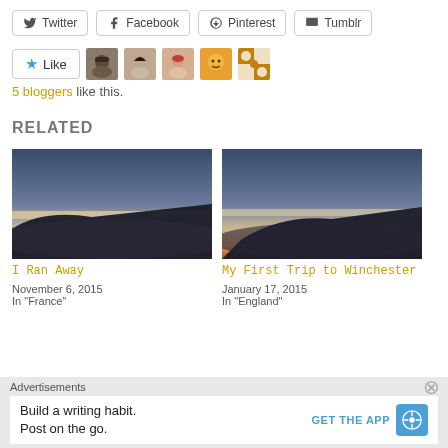[Figure (other): Social share buttons: Twitter, Facebook, Pinterest, Tumblr]
[Figure (other): Like button with 5 blogger avatars]
5 bloggers like this.
RELATED
[Figure (photo): Airplane wing view at sunset/dusk, article: I Ran Away, November 6, 2015, In France]
[Figure (photo): Airplane wing view at sunset/dusk, article: My First Trip to Winchester, January 17, 2015, In England]
Advertisements
Build a writing habit. Post on the go. GET THE APP